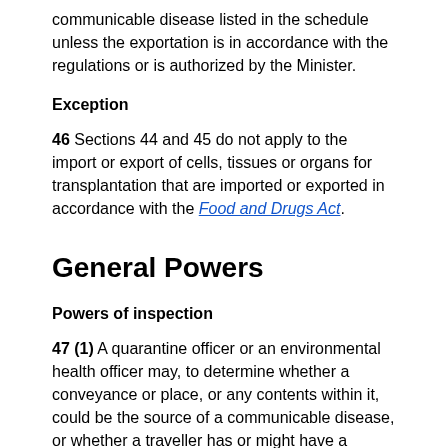communicable disease listed in the schedule unless the exportation is in accordance with the regulations or is authorized by the Minister.
Exception
46 Sections 44 and 45 do not apply to the import or export of cells, tissues or organs for transplantation that are imported or exported in accordance with the Food and Drugs Act.
General Powers
Powers of inspection
47 (1) A quarantine officer or an environmental health officer may, to determine whether a conveyance or place, or any contents within it, could be the source of a communicable disease, or whether a traveller has or might have a communicable disease or is